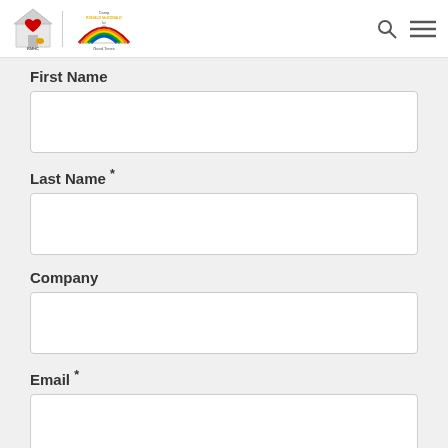[Figure (logo): RMHC Ronald McDonald House Charities logo (house with heart) and Camp Ronald McDonald for Good Times logo (colorful tent)]
First Name
Last Name *
Company
Email *
Phone